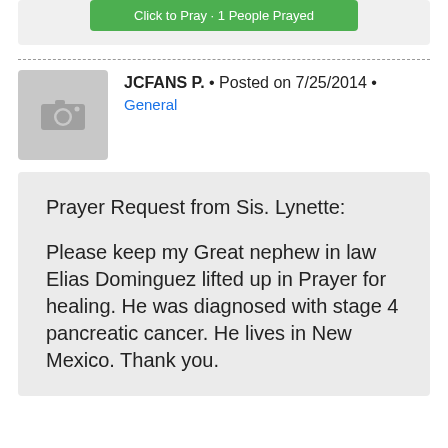[Figure (other): Green button partially visible at top reading 'Click to Pray - 1 People Prayed']
JCFANS P. • Posted on 7/25/2014 • General
Prayer Request from Sis. Lynette:

Please keep my Great nephew in law Elias Dominguez lifted up in Prayer for healing. He was diagnosed with stage 4 pancreatic cancer. He lives in New Mexico. Thank you.